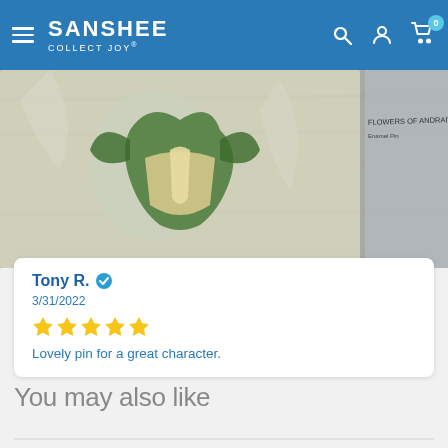SANSHEE COLLECT JOY
[Figure (photo): Photo of a collectible pin in packaging on a wooden surface. The pin appears to show a green dragon or similar fantasy character. A second packaged pin is partially visible on the right.]
Tony R.  ✓
3/31/2022
★★★★★
Lovely pin for a great character.
You may also like